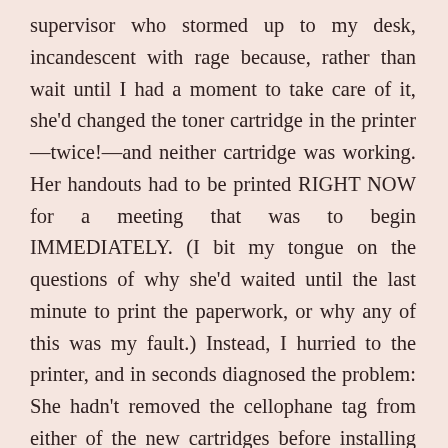supervisor who stormed up to my desk, incandescent with rage because, rather than wait until I had a moment to take care of it, she'd changed the toner cartridge in the printer—twice!—and neither cartridge was working. Her handouts had to be printed RIGHT NOW for a meeting that was to begin IMMEDIATELY. (I bit my tongue on the questions of why she'd waited until the last minute to print the paperwork, or why any of this was my fault.) Instead, I hurried to the printer, and in seconds diagnosed the problem: She hadn't removed the cellophane tag from either of the new cartridges before installing them. One good rrrip, and that printer was functioning once